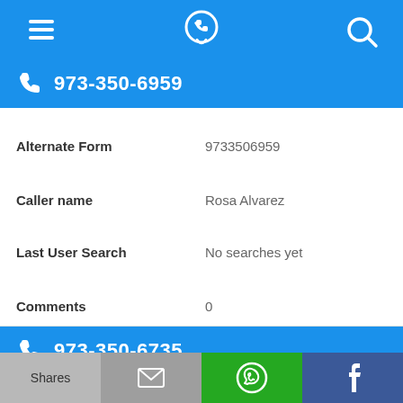[Figure (screenshot): Mobile app top navigation bar with hamburger menu, phone/location icon, and search icon on blue background]
973-350-6959
Alternate Form	9733506959
Caller name	Rosa Alvarez
Last User Search	No searches yet
Comments	0
973-350-6735
Alternate Form	9733506735
[Figure (screenshot): Bottom share bar with Shares, email, WhatsApp, and Facebook buttons]